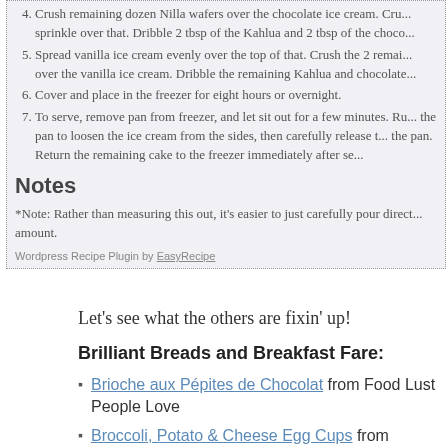4. Crush remaining dozen Nilla wafers over the chocolate ice cream. Cru... sprinkle over that. Dribble 2 tbsp of the Kahlua and 2 tbsp of the choco...
5. Spread vanilla ice cream evenly over the top of that. Crush the 2 remai... over the vanilla ice cream. Dribble the remaining Kahlua and chocolate...
6. Cover and place in the freezer for eight hours or overnight.
7. To serve, remove pan from freezer, and let sit out for a few minutes. Ru... the pan to loosen the ice cream from the sides, then carefully release t... the pan. Return the remaining cake to the freezer immediately after se...
Notes
*Note: Rather than measuring this out, it's easier to just carefully pour direct... amount.
Wordpress Recipe Plugin by EasyRecipe
Let’s see what the others are fixin’ up!
Brilliant Breads and Breakfast Fare:
Brioche aux Pépites de Chocolat from Food Lust People Love
Broccoli, Potato & Cheese Egg Cups from Cupcakes & Kale Chips
Celebration Strawberry Crepes from The Not So Cheesy Kitchen